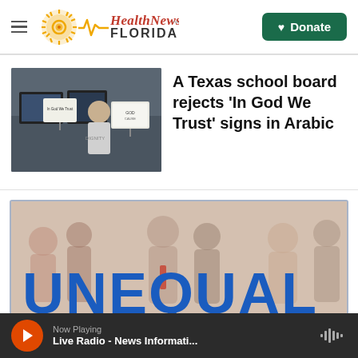Health News Florida
[Figure (photo): A person at a school board meeting holding 'In God We Trust' signs with Arabic text]
A Texas school board rejects 'In God We Trust' signs in Arabic
[Figure (illustration): Graphic with silhouettes of diverse people and bold blue text reading UNEQUAL]
Now Playing — Live Radio - News Informati...